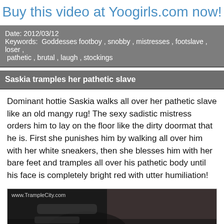Buy this video at Yoogirls.com now!
Date: 2012/03/12
Keywords: Goddesses footboy , snobby , mistresses , footslave , loser , pathetic , brutal , laugh , stockings
Saskia tramples her pathetic slave
Dominant hottie Saskia walks all over her pathetic slave like an old mangy rug! The sexy sadistic mistress orders him to lay on the floor like the dirty doormat that he is. First she punishes him by walking all over him with her white sneakers, then she blesses him with her bare feet and tramples all over his pathetic body until his face is completely bright red with utter humiliation!
[Figure (photo): Video thumbnail showing a person being trampled, with watermark www.TrampleCity.com]